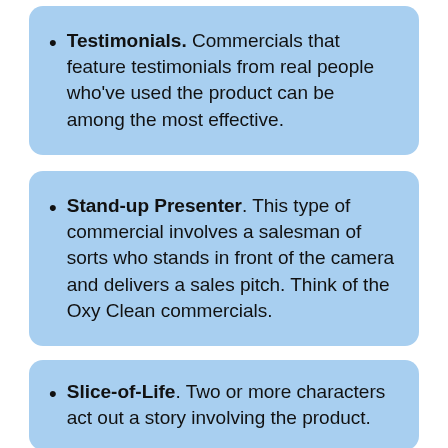Testimonials. Commercials that feature testimonials from real people who've used the product can be among the most effective.
Stand-up Presenter. This type of commercial involves a salesman of sorts who stands in front of the camera and delivers a sales pitch. Think of the Oxy Clean commercials.
Slice-of-Life. Two or more characters act out a story involving the product.